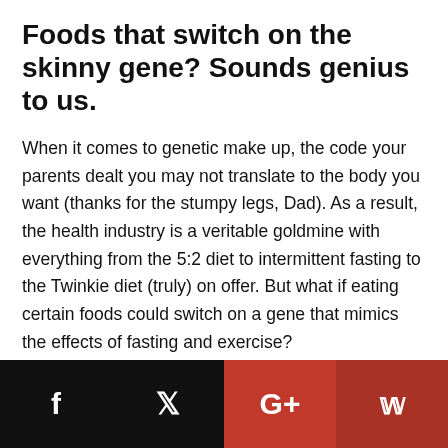Foods that switch on the skinny gene? Sounds genius to us.
When it comes to genetic make up, the code your parents dealt you may not translate to the body you want (thanks for the stumpy legs, Dad). As a result, the health industry is a veritable goldmine with everything from the 5:2 diet to intermittent fasting to the Twinkie diet (truly) on offer. But what if eating certain foods could switch on a gene that mimics the effects of fasting and exercise?
Sounds amazing, right? This is the premise behind
f  [twitter]  G+  [pinterest]